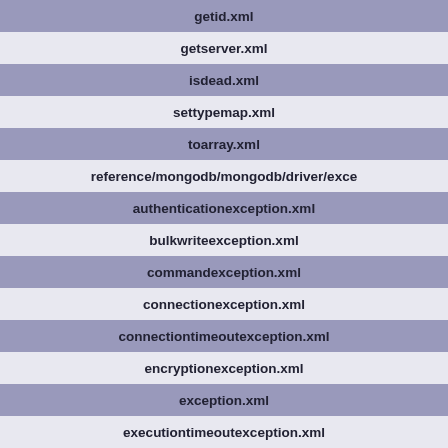getid.xml
getserver.xml
isdead.xml
settypemap.xml
toarray.xml
reference/mongodb/mongodb/driver/exce
authenticationexception.xml
bulkwriteexception.xml
commandexception.xml
connectionexception.xml
connectiontimeoutexception.xml
encryptionexception.xml
exception.xml
executiontimeoutexception.xml